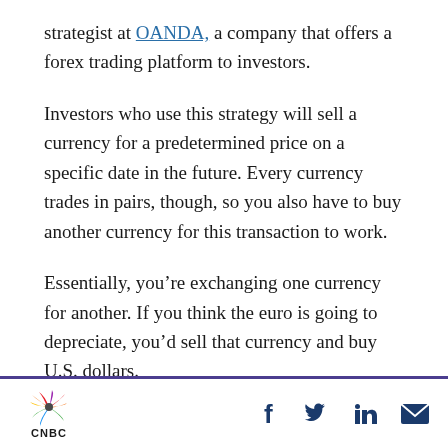strategist at OANDA, a company that offers a forex trading platform to investors.
Investors who use this strategy will sell a currency for a predetermined price on a specific date in the future. Every currency trades in pairs, though, so you also have to buy another currency for this transaction to work.
Essentially, you’re exchanging one currency for another. If you think the euro is going to depreciate, you’d sell that currency and buy U.S. dollars.
CNBC logo with social icons: Facebook, Twitter, LinkedIn, Email